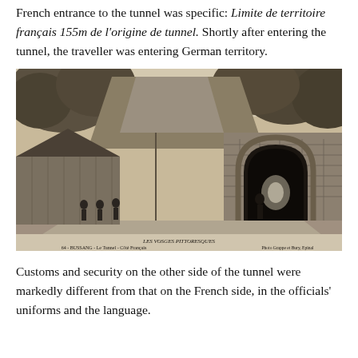French entrance to the tunnel was specific: Limite de territoire français 155m de l'origine de tunnel. Shortly after entering the tunnel, the traveller was entering German territory.
[Figure (photo): Black and white historical photograph of the French entrance to the Bussang tunnel in Les Vosges, showing the stone arch tunnel entrance, a wooden building to the left, several figures standing near the entrance, tree-covered hillside, and a road leading to the tunnel. Caption reads: LES VOSGES PITTORESQUES / 64 - BUSSANG - Le Tunnel - Côté Français / Photo Grappe et Bury, Epinal]
Customs and security on the other side of the tunnel were markedly different from that on the French side, in the officials' uniforms and the language.